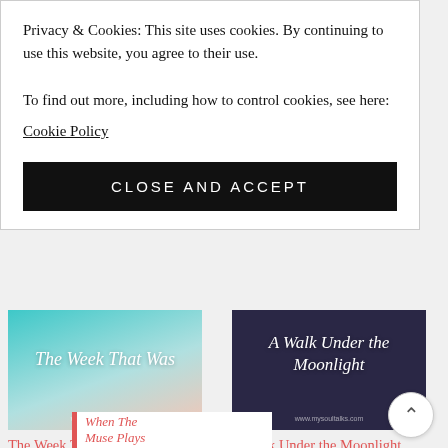Privacy & Cookies: This site uses cookies. By continuing to use this website, you agree to their use.
To find out more, including how to control cookies, see here:
Cookie Policy
CLOSE AND ACCEPT
[Figure (illustration): Thumbnail image with teal-to-pink gradient sky background and white italic text reading 'The Week That Was' with URL www.mysoultalks.com]
The Week That Was #SoulfulSunday
[Figure (illustration): Thumbnail image with dark purple/navy background and white italic text reading 'A Walk Under the Moonlight' with URL www.mysoultalks.com]
A Walk Under the Moonlight
[Figure (illustration): Partial thumbnail with white background, red left border, and pink italic text reading 'When The Muse Plays...']